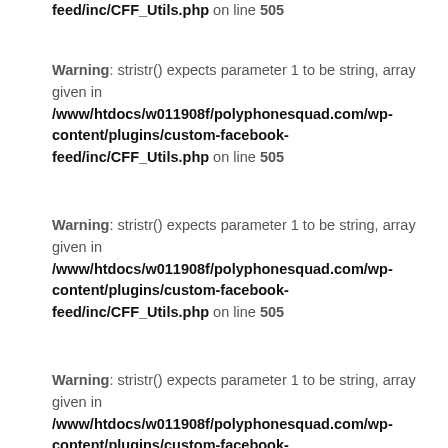feed/inc/CFF_Utils.php on line 505
Warning: stristr() expects parameter 1 to be string, array given in /www/htdocs/w011908f/polyphonesquad.com/wp-content/plugins/custom-facebook-feed/inc/CFF_Utils.php on line 505
Warning: stristr() expects parameter 1 to be string, array given in /www/htdocs/w011908f/polyphonesquad.com/wp-content/plugins/custom-facebook-feed/inc/CFF_Utils.php on line 505
Warning: stristr() expects parameter 1 to be string, array given in /www/htdocs/w011908f/polyphonesquad.com/wp-content/plugins/custom-facebook-feed/inc/CFF_Utils.php on line 505